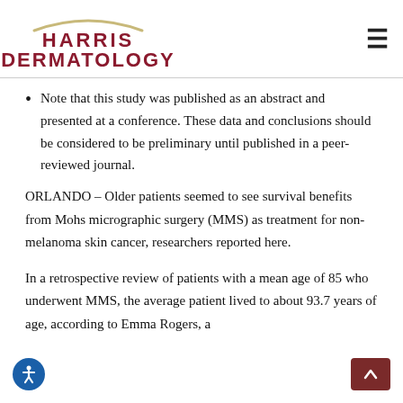HARRIS DERMATOLOGY
Note that this study was published as an abstract and presented at a conference. These data and conclusions should be considered to be preliminary until published in a peer-reviewed journal.
ORLANDO – Older patients seemed to see survival benefits from Mohs micrographic surgery (MMS) as treatment for non-melanoma skin cancer, researchers reported here.
In a retrospective review of patients with a mean age of 85 who underwent MMS, the average patient lived to about 93.7 years of age, according to Emma Rogers, a